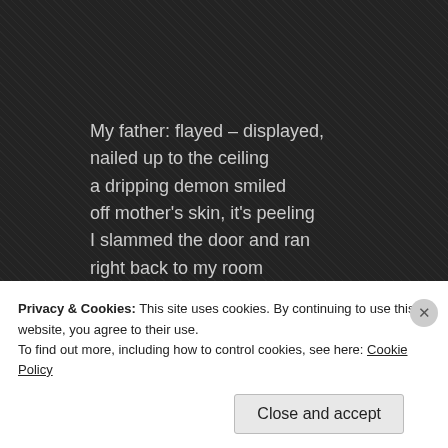My father: flayed – displayed,
nailed up to the ceiling
a dripping demon smiled
off mother's skin, it's peeling
I slammed the door and ran
right back to my room
forgot to lock my door,
please don't be my doom

I gripped my bear, tight
protects me all the time
hiding under covers
as into bed, I climb
Privacy & Cookies: This site uses cookies. By continuing to use this website, you agree to their use.
To find out more, including how to control cookies, see here: Cookie Policy